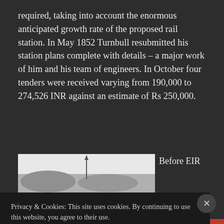required, taking into account the enormous anticipated growth rate of the proposed rail station. In May 1852 Turnbull resubmitted his station plans complete with details – a major work of him and his team of engineers. In October four tenders were received varying from 190,000 to 274,526 INR against an estimate of Rs 250,000.
[Figure (photo): Black and white historical photograph, partially visible, showing a tall spire or monument structure against a light sky]
Before EIR
Privacy & Cookies: This site uses cookies. By continuing to use this website, you agree to their use.
To find out more, including how to control cookies, see here: Cookie Policy
Close and accept